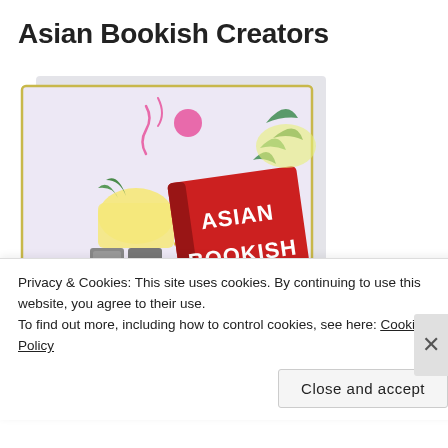Asian Bookish Creators
[Figure (illustration): Illustrated logo for Asian Bookish Creators showing a stack of books with a red book in front titled 'ASIAN BOOKISH CREATORS', surrounded by green leaves, a yellow mug, and decorative pink elements on a light purple/grey background with a golden border frame.]
Privacy & Cookies: This site uses cookies. By continuing to use this website, you agree to their use.
To find out more, including how to control cookies, see here: Cookie Policy
Close and accept